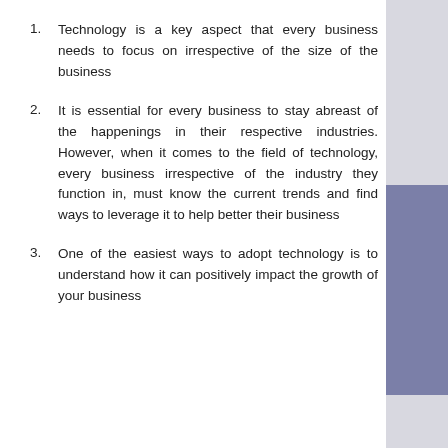Technology is a key aspect that every business needs to focus on irrespective of the size of the business
It is essential for every business to stay abreast of the happenings in their respective industries. However, when it comes to the field of technology, every business irrespective of the industry they function in, must know the current trends and find ways to leverage it to help better their business
One of the easiest ways to adopt technology is to understand how it can positively impact the growth of your business